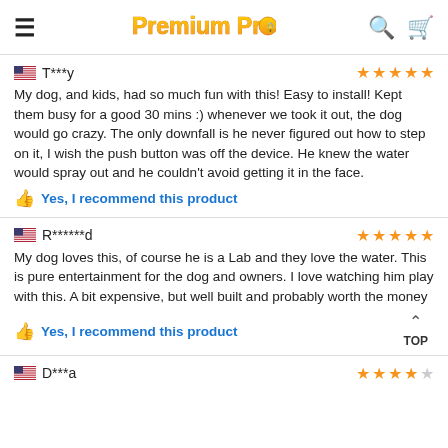Premium Products
T***y
My dog, and kids, had so much fun with this! Easy to install! Kept them busy for a good 30 mins :) whenever we took it out, the dog would go crazy. The only downfall is he never figured out how to step on it, I wish the push button was off the device. He knew the water would spray out and he couldn't avoid getting it in the face.
Yes, I recommend this product
R******d
My dog loves this, of course he is a Lab and they love the water. This is pure entertainment for the dog and owners. I love watching him play with this. A bit expensive, but well built and probably worth the money
Yes, I recommend this product
D***a